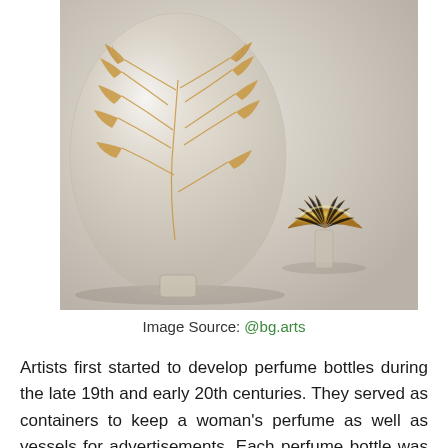[Figure (photo): A glass perfume bottle with gold botanical (ginkgo leaf) pattern overlay, shown alongside its decorative gold stopper with fan-shaped top, photographed against a light grey background.]
Image Source: @bg.arts
Artists first started to develop perfume bottles during the late 19th and early 20th centuries. They served as containers to keep a woman's perfume as well as vessels for advertisements. Each perfume bottle was an expression of refined elegance and suited for both functional